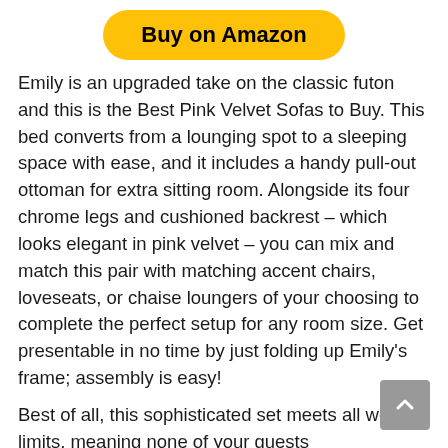[Figure (other): Yellow rounded 'Buy on Amazon' button]
Emily is an upgraded take on the classic futon and this is the Best Pink Velvet Sofas to Buy. This bed converts from a lounging spot to a sleeping space with ease, and it includes a handy pull-out ottoman for extra sitting room. Alongside its four chrome legs and cushioned backrest – which looks elegant in pink velvet – you can mix and match this pair with matching accent chairs, loveseats, or chaise loungers of your choosing to complete the perfect setup for any room size. Get presentable in no time by just folding up Emily’s frame; assembly is easy!
Best of all, this sophisticated set meets all weight limits, meaning none of your guests